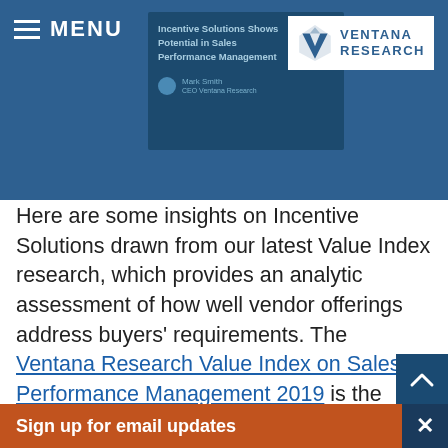MENU
[Figure (screenshot): Ventana Research logo and header screenshot with preview of 'Incentive Solutions Shows Potential in Sales Performance Management' article]
Here are some insights on Incentive Solutions drawn from our latest Value Index research, which provides an analytic assessment of how well vendor offerings address buyers' requirements. The Ventana Research Value Index on Sales Performance Management 2019 is the distillation of a year of market and product research efforts by Ventana Research. We evaluated Incentive Solutions and eight other vendors in seven categories, five product-related adaptability, capability, manageability, reliability and usability
Sign up for email updates